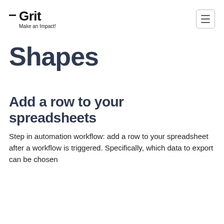— Grit Make an Impact!
Shapes
Add a row to your spreadsheets
Step in automation workflow: add a row to your spreadsheet after a workflow is triggered. Specifically, which data to export can be chosen